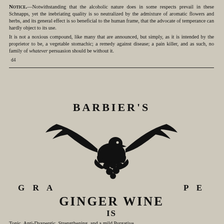NOTICE.—Notwithstanding that the alcoholic nature does in some respects prevail in these Schnapps, yet the inebriating quality is so neutralized by the admixture of aromatic flowers and herbs, and its general effect is so beneficial to the human frame, that the advocate of temperance can hardly object to its use.
It is not a noxious compound, like many that are announced, but simply, as it is intended by the proprietor to be, a vegetable stomachic; a remedy against disease; a pain killer, and as such, no family of whatever persuasion should be without it.
d4
BARBIER'S
[Figure (illustration): An eagle with wings spread wide, holding a bunch of grapes and foliage in its talons — a decorative woodcut logo illustration.]
G R A   P E
GINGER WINE
IS
Tonic, Anti-Dyspeptic, Strengthening, and a mild Purgative.
IT IS ALSO
The best specific for the cure of Debility, Languor,